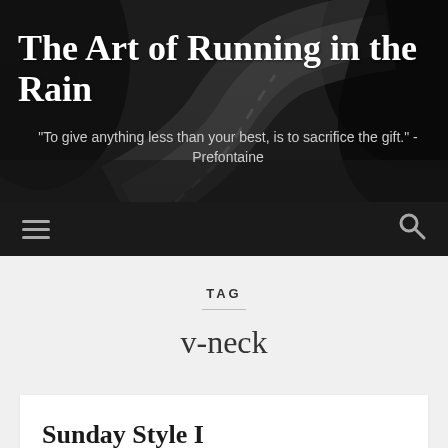[Figure (photo): Dark black-and-white photo of a winding road through a forest at night, used as a hero banner background]
The Art of Running in the Rain
"To give anything less than your best, is to sacrifice the gift." -Prefontaine
Navigation bar with hamburger menu and search icon
TAG
v-neck
Sunday Style I